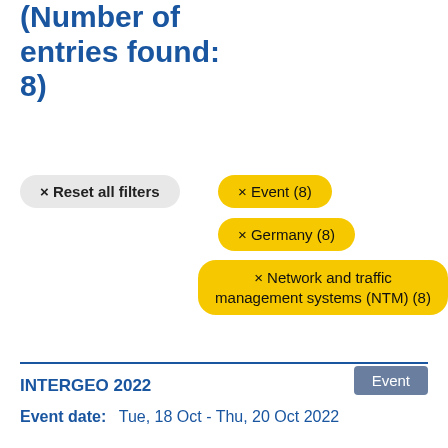Search results (Number of entries found: 8)
× Reset all filters
× Event (8)
× Germany (8)
× Network and traffic management systems (NTM) (8)
INTERGEO 2022
Event
Event date:   Tue, 18 Oct - Thu, 20 Oct 2022
The international geo-community will meet in person and digitally at INTERGEO 2022 from 18-20 October in Essen, Germany.
Neighbourhood administrations